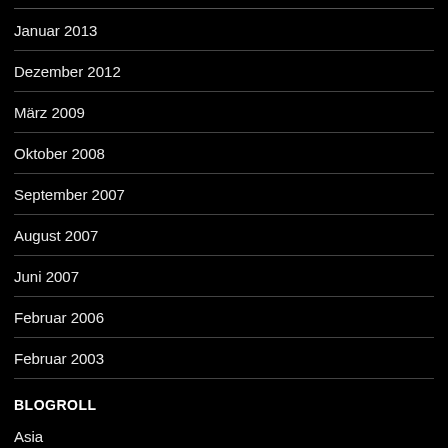Januar 2013
Dezember 2012
März 2009
Oktober 2008
September 2007
August 2007
Juni 2007
Februar 2006
Februar 2003
BLOGROLL
Asia